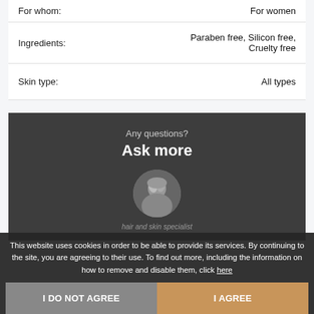|  |  |
| --- | --- |
| For whom: | For women |
| Ingredients: | Paraben free, Silicon free, Cruelty free |
| Skin type: | All types |
[Figure (infographic): Dark grey panel with 'Any questions?' subtitle and 'Ask more' bold heading, with a circular avatar photo below]
This website uses cookies in order to be able to provide its services. By continuing to the site, you are agreeing to their use. To find out more, including the information on how to remove and disable them, click here
I DO NOT AGREE
I AGREE
hair and skin specialist